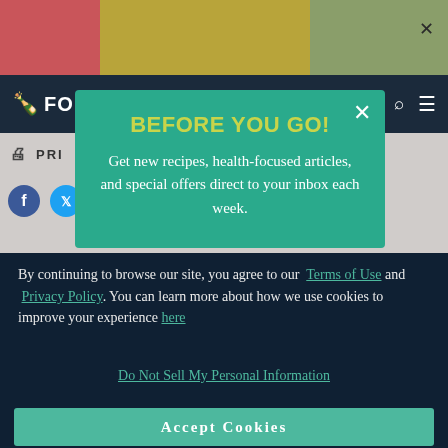[Figure (screenshot): Website screenshot showing a food/recipe site with colorful header blocks (red, tan, sage), dark navy navigation bar with logo starting with 'FO', a gray content area with print button and social media icons, and a dark navy cookie consent panel at the bottom.]
BEFORE YOU GO! Get new recipes, health-focused articles, and special offers direct to your inbox each week.
By continuing to browse our site, you agree to our Terms of Use and Privacy Policy. You can learn more about how we use cookies to improve your experience here
Do Not Sell My Personal Information
Accept Cookies